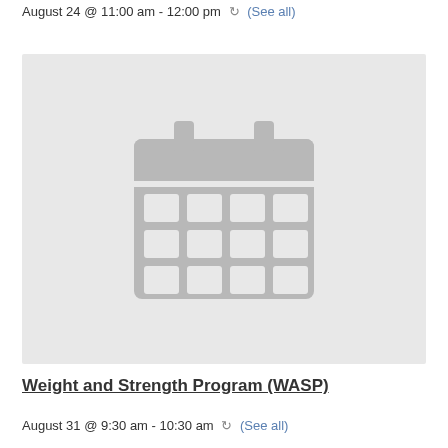August 24 @ 11:00 am - 12:00 pm  ↻ (See all)
[Figure (illustration): Grey calendar icon on light grey background]
Weight and Strength Program (WASP)
August 31 @ 9:30 am - 10:30 am  ↻ (See all)